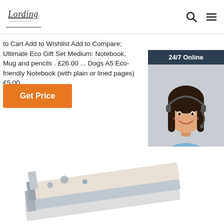Lording [logo] | search icon | menu icon
to Cart Add to Wishlist Add to Compare; Ultimate Eco Gift Set Medium: Notebook, Mug and pencils . £26.00 ... Dogs A5 Eco-friendly Notebook (with plain or lined pages) £5.00
Get Price
[Figure (infographic): Chat widget with '24/7 Online' header, photo of smiling woman with headset, 'Click here for free chat !' text, and orange QUOTATION button]
[Figure (photo): Product photo showing stacked eco notebooks at bottom of page]